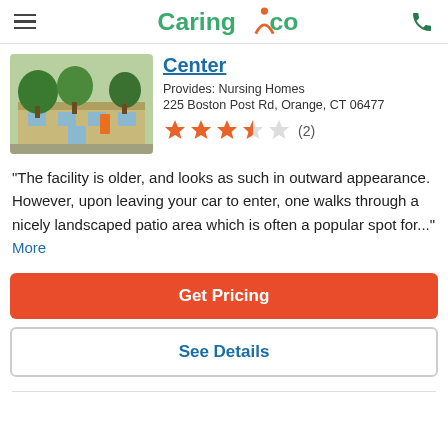Caring.com
[Figure (photo): Exterior photo of a single-story nursing home facility with trees in the background]
Center
Provides: Nursing Homes
225 Boston Post Rd, Orange, CT 06477
[Figure (other): Star rating: 3.5 out of 5 stars (2 reviews)]
"The facility is older, and looks as such in outward appearance. However, upon leaving your car to enter, one walks through a nicely landscaped patio area which is often a popular spot for..." More
Get Pricing
See Details